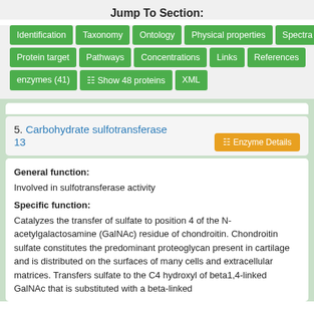Jump To Section:
Identification | Taxonomy | Ontology | Physical properties | Spectra | Protein target | Pathways | Concentrations | Links | References | enzymes (41) | Show 48 proteins | XML
5. Carbohydrate sulfotransferase 13
General function:
Involved in sulfotransferase activity
Specific function:
Catalyzes the transfer of sulfate to position 4 of the N-acetylgalactosamine (GalNAc) residue of chondroitin. Chondroitin sulfate constitutes the predominant proteoglycan present in cartilage and is distributed on the surfaces of many cells and extracellular matrices. Transfers sulfate to the C4 hydroxyl of beta1,4-linked GalNAc that is substituted with a beta-linked